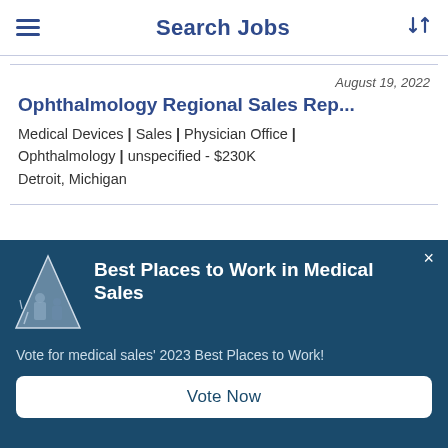Search Jobs
August 19, 2022
Ophthalmology Regional Sales Rep...
Medical Devices | Sales | Physician Office | Ophthalmology | unspecified - $230K
Detroit, Michigan
[Figure (infographic): Best Places to Work in Medical Sales popup banner with logo (triangle with people), heading, subtext, and Vote Now button]
Best Places to Work in Medical Sales
Vote for medical sales' 2023 Best Places to Work!
Vote Now